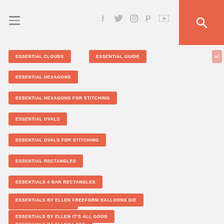Navigation bar with hamburger menu, social icons (Facebook, Twitter, Instagram, Pinterest, YouTube), and search button
ESSENTIAL CLOUDS
ESSENTIAL GUIDE
ESSENTIAL HEXAGONS
ESSENTIAL HEXAGONS FOR STITCHING
ESSENTIAL OVALS
ESSENTIAL OVALS FOR STITCHING
ESSENTIAL RECTANGLES
ESSENTIALS 4 BAR RECTANGLES
ESSENTIALS BY ELLEN
ESSENTIALS BY ELLEN CAKE
ESSENTIALS BY ELLEN FREEFORM BALLOONS DIE
ESSENTIALS BY ELLEN IT'S ALL GOOD
ESSENTIALS BY ELLEN PIERCING DIES